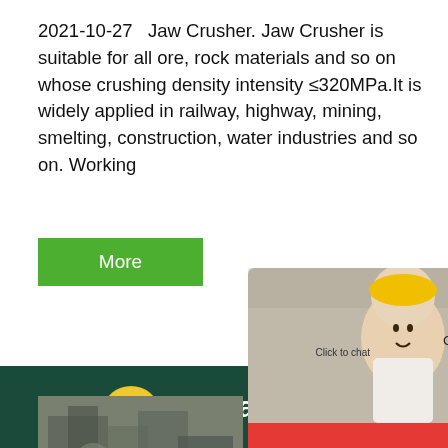2021-10-27   Jaw Crusher. Jaw Crusher is suitable for all ore, rock materials and so on whose crushing density intensity ≤320MPa.It is widely applied in railway, highway, mining, smelting, construction, water industries and so on. Working
[Figure (screenshot): Green 'More' button]
[Figure (screenshot): Live Chat popup overlay showing workers in hard hats, LIVE CHAT heading in red italic, 'Click for a Free Consultation' subtitle, Chat now (red) and Chat later (dark) buttons]
[Figure (screenshot): Right side help popup with green header 'I help uou?' and face with headset, clock badge showing 24, Click to chat label]
[Figure (photo): Industrial machinery/rock crushing equipment image]
Crushing ...
Rock Crush
Black Rock Crushing provides on-site cr
Онлайн чат